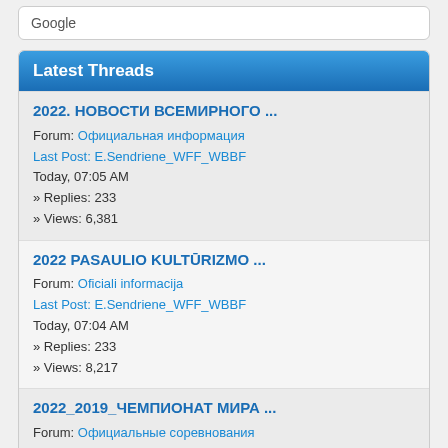Google
Latest Threads
2022. НОВОСТИ ВСЕМИРНОГО ...
Forum: Официальная информация
Last Post: E.Sendriene_WFF_WBBF
Today, 07:05 AM
» Replies: 233
» Views: 6,381
2022 PASAULIO KULTŪRIZMO ...
Forum: Oficiali informacija
Last Post: E.Sendriene_WFF_WBBF
Today, 07:04 AM
» Replies: 233
» Views: 8,217
2022_2019_ЧЕМПИОНАТ МИРА ...
Forum: Официальные соревнования
Last Post: E.Sendriene_WFF_WBBF
Yesterday, 07:43 AM
» Replies: 354